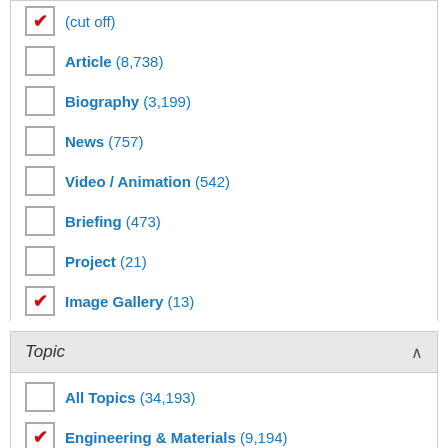Article (8,738)
Biography (3,199)
News (757)
Video / Animation (542)
Briefing (473)
Project (21)
Image Gallery (13) [checked]
Topic
All Topics (34,193)
Engineering & Materials (9,194) [checked]
Physics (5,793) [checked]
Biology & Biomedicine (5,059)
Earth Science (3,700)
Chemistry (2,853)
Zoology (2,720)
Health Sciences (2,374)
Astronomy & Space Science (2,020)
Botany (1,773)